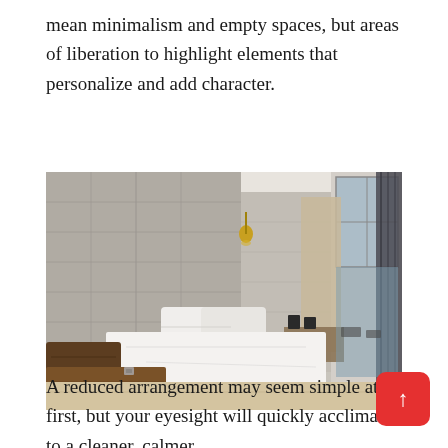mean minimalism and empty spaces, but areas of liberation to highlight elements that personalize and add character.
[Figure (photo): A minimalist hotel bedroom with concrete walls, white bed linens, wooden bed frame, a gold pendant lamp, wooden desk area, curtains, and large windows/sliding glass doors leading to a balcony with outdoor furniture.]
A reduced arrangement may seem simple at first, but your eyesight will quickly acclimate to a cleaner, calmer